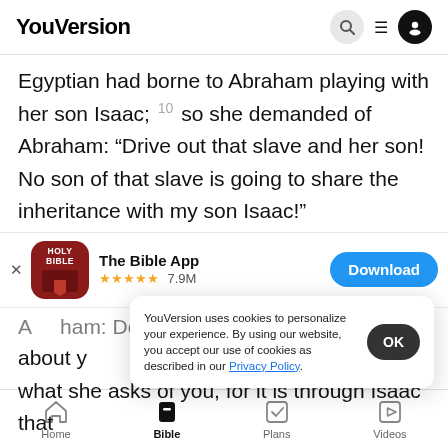YouVersion
Egyptian had borne to Abraham playing with her son Isaac; 10 so she demanded of Abraham: “Drive out that slave and her son! No son of that slave is going to share the inheritance with my son Isaac!”
[Figure (screenshot): App store banner for The Bible App with Holy Bible icon, 5 stars, 7.9M reviews, and Download button]
A... ham: Do not be distressed about the bo...
about y...
what she asks of you, for it is through Isaac that
YouVersion uses cookies to personalize your experience. By using our website, you accept our use of cookies as described in our Privacy Policy.
Home  Bible  Plans  Videos